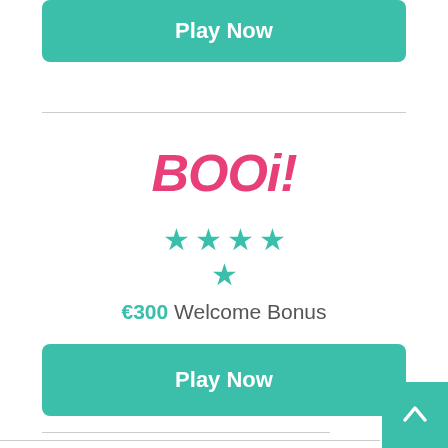[Figure (other): Play Now button (teal/green rounded rectangle) at top of page]
[Figure (logo): Booi! casino logo in pink/magenta stylized bold italic text]
[Figure (other): 4.5 star rating shown as 4 teal stars on first row and 1 teal star on second row for Booi casino]
€300 Welcome Bonus
[Figure (other): Play Now button (teal/green rounded rectangle) for Booi casino]
[Figure (logo): CASINO-X logo in dark uppercase spaced text]
[Figure (other): 4.5 star rating shown as 4 teal stars on first row and 1 teal star on second row for Casino-X]
[Figure (other): Scroll-to-top button (teal square with up arrow) in bottom-right corner]